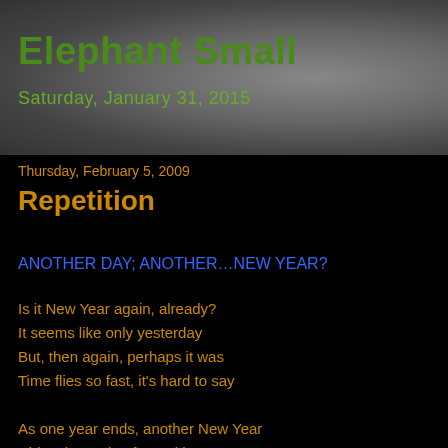[Figure (photo): Close-up photograph of elephant skin texture with dark grey tones, serving as blog header background]
Elephant Small
Saturday, January 31, 2015
Thursday, February 5, 2009
Repetition
ANOTHER DAY; ANOTHER…NEW YEAR?
Is it New Year again, already?
It seems like only yesterday
But, then again, perhaps it was
Time flies so fast, it's hard to say
As one year ends, another New Year
Rides the cycle of repetition
But, I wonder, what is New Year, Do?